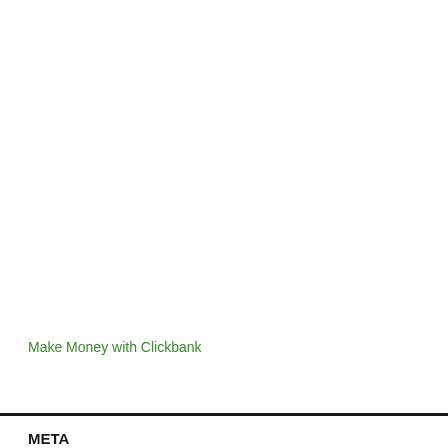Make Money with Clickbank
META